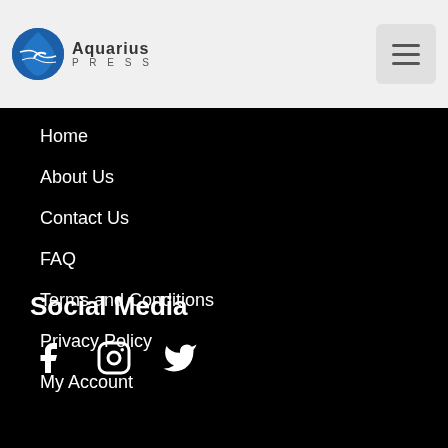Aquarius Press
Home
About Us
Contact Us
FAQ
Terms and Conditions
Privacy Policy
My Account
Social Media
[Figure (illustration): Social media icons: Facebook, Instagram, Twitter]